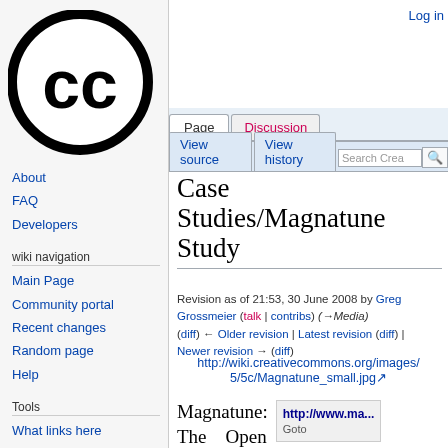[Figure (logo): Creative Commons circular logo with 'cc' letters in black on white background]
Log in
About
FAQ
Developers
wiki navigation
Main Page
Community portal
Recent changes
Random page
Help
Tools
What links here
Related changes
Case Studies/Magnatune Study
Revision as of 21:53, 30 June 2008 by Greg Grossmeier (talk | contribs) (→Media) (diff) ← Older revision | Latest revision (diff) | Newer revision → (diff)
http://wiki.creativecommons.org/images/5/5c/Magnatune_small.jpg
Magnatune: The Open
http://www.ma...